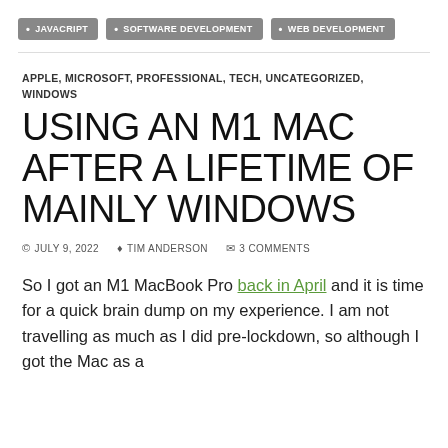• JAVACRIPT  • SOFTWARE DEVELOPMENT  • WEB DEVELOPMENT
APPLE, MICROSOFT, PROFESSIONAL, TECH, UNCATEGORIZED, WINDOWS
USING AN M1 MAC AFTER A LIFETIME OF MAINLY WINDOWS
© JULY 9, 2022  ♦ TIM ANDERSON  ✉ 3 COMMENTS
So I got an M1 MacBook Pro back in April and it is time for a quick brain dump on my experience. I am not travelling as much as I did pre-lockdown, so although I got the Mac as a